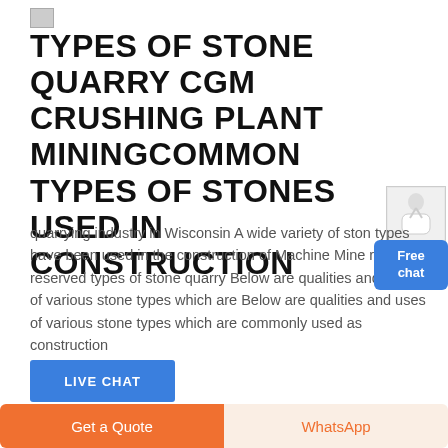[Figure (illustration): Small broken/placeholder image icon top left]
TYPES OF STONE QUARRY CGM CRUSHING PLANT MININGCOMMON TYPES OF STONES USED IN CONSTRUCTION
quarrying industry in Wisconsin A wide variety of stone types have been used in the construction of Machine Mine rights reserved types of stone quarry Below are qualities and uses of various stone types which are Below are qualities and uses of various stone types which are commonly used as construction
[Figure (illustration): Free chat badge with person illustration]
[Figure (illustration): Live chat button]
[Figure (illustration): Small broken/placeholder image icon]
D C UNIVERSITY LESSON 1
Get a Quote
WhatsApp